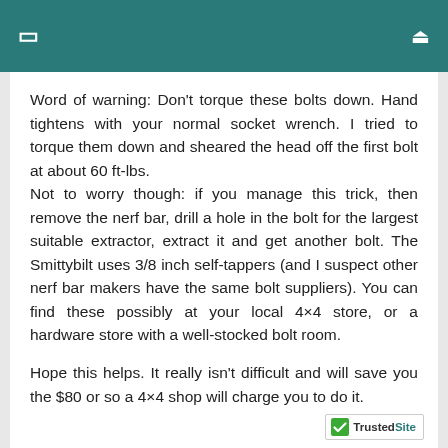☰  🔍
Word of warning: Don't torque these bolts down. Hand tightens with your normal socket wrench. I tried to torque them down and sheared the head off the first bolt at about 60 ft-lbs.
Not to worry though: if you manage this trick, then remove the nerf bar, drill a hole in the bolt for the largest suitable extractor, extract it and get another bolt. The Smittybilt uses 3/8 inch self-tappers (and I suspect other nerf bar makers have the same bolt suppliers). You can find these possibly at your local 4×4 store, or a hardware store with a well-stocked bolt room.
Hope this helps. It really isn't difficult and will save you the $80 or so a 4×4 shop will charge you to do it.
[Figure (logo): TrustedSite logo with green checkmark]